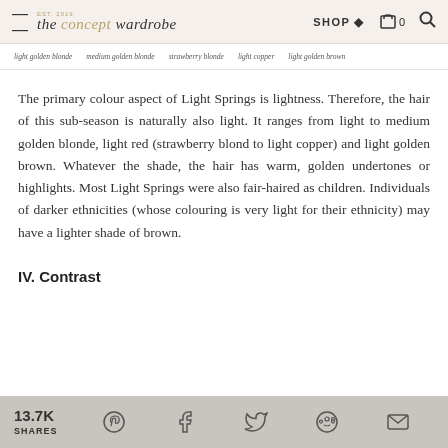the concept wardrobe — SHOP 🏷 🛒 0 🔍
light golden blonde   medium golden blonde   strawberry blonde   light copper   light golden brown
The primary colour aspect of Light Springs is lightness. Therefore, the hair of this sub-season is naturally also light. It ranges from light to medium golden blonde, light red (strawberry blond to light copper) and light golden brown. Whatever the shade, the hair has warm, golden undertones or highlights. Most Light Springs were also fair-haired as children. Individuals of darker ethnicities (whose colouring is very light for their ethnicity) may have a lighter shade of brown.
IV. Contrast
13.7K SHARES